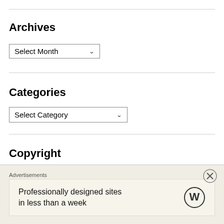Archives
[Figure (screenshot): Select Month dropdown control]
Categories
[Figure (screenshot): Select Category dropdown control]
Copyright
© Madhulika Liddle. Unauthorised use and/or duplication of this material without express and written permission from this blog's author and/or owner is strictly prohibited. Excerpts and links may be used, provided
Advertisements
Professionally designed sites in less than a week